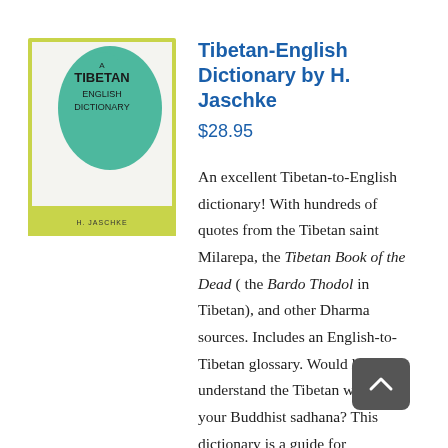[Figure (illustration): Book cover of 'A Tibetan English Dictionary' with a green silhouette of a person on a yellow-green background, with the text 'A TIBETAN ENGLISH DICTIONARY' and 'H. JASCHKE' at the bottom.]
Tibetan-English Dictionary by H. Jaschke
$28.95
An excellent Tibetan-to-English dictionary! With hundreds of quotes from the Tibetan saint Milarepa, the Tibetan Book of the Dead ( the Bardo Thodol in Tibetan), and other Dharma sources. Includes an English-to-Tibetan glossary. Would like to understand the Tibetan words in your Buddhist sadhana? This dictionary is a guide for